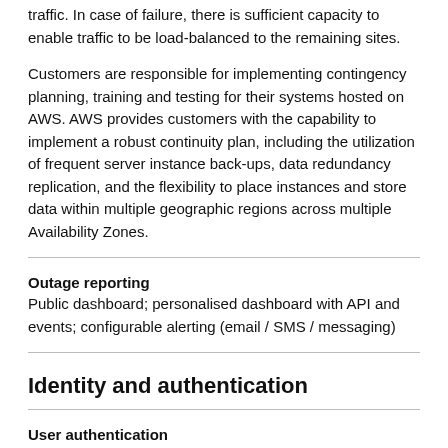traffic. In case of failure, there is sufficient capacity to enable traffic to be load-balanced to the remaining sites.
Customers are responsible for implementing contingency planning, training and testing for their systems hosted on AWS. AWS provides customers with the capability to implement a robust continuity plan, including the utilization of frequent server instance back-ups, data redundancy replication, and the flexibility to place instances and store data within multiple geographic regions across multiple Availability Zones.
Outage reporting
Public dashboard; personalised dashboard with API and events; configurable alerting (email / SMS / messaging)
Identity and authentication
User authentication